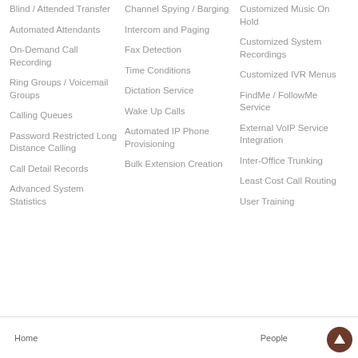Blind / Attended Transfer
Channel Spying / Barging
Customized Music On Hold
Automated Attendants
Intercom and Paging
Customized System Recordings
On-Demand Call Recording
Fax Detection
Customized IVR Menus
Ring Groups / Voicemail Groups
Time Conditions
FindMe / FollowMe Service
Calling Queues
Dictation Service
External VoIP Service Integration
Password Restricted Long Distance Calling
Wake Up Calls
Inter-Office Trunking
Call Detail Records
Automated IP Phone Provisioning
Least Cost Call Routing
Advanced System Statistics
Bulk Extension Creation
User Training
Home   People